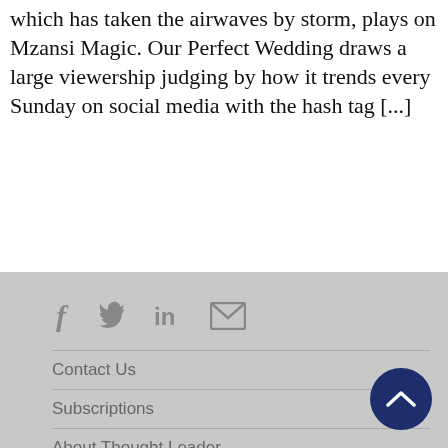which has taken the airwaves by storm, plays on Mzansi Magic. Our Perfect Wedding draws a large viewership judging by how it trends every Sunday on social media with the hash tag [...]
Social icons: Facebook, Twitter, LinkedIn, Email | Contact Us | Subscriptions | About Thought Leader | Contributor Guidelines | Legal